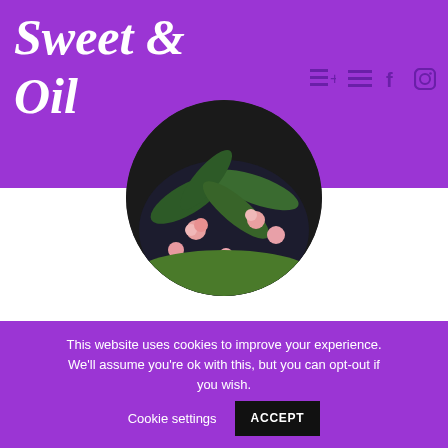Sweet & Oil
[Figure (photo): Circular cropped photo showing a tropical floral patterned clothing item with dark background, pink flowers and green palm leaves, partially visible from top]
Share
[Figure (infographic): Row of social sharing buttons: Facebook (blue), Twitter (blue), Pinterest (red/dark), Reddit (orange-red), Email (blue), WhatsApp (green), Messenger (blue)]
This website uses cookies to improve your experience. We'll assume you're ok with this, but you can opt-out if you wish.    Cookie settings    ACCEPT